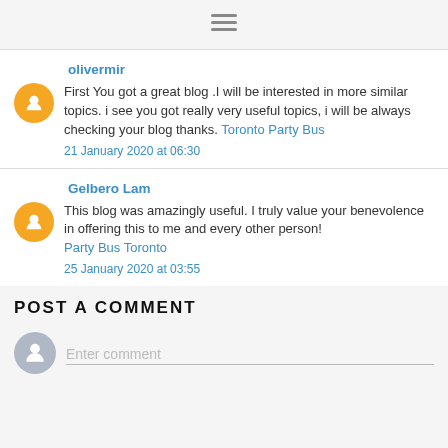☰ (hamburger menu icon)
olivermir
First You got a great blog .I will be interested in more similar topics. i see you got really very useful topics, i will be always checking your blog thanks. Toronto Party Bus
21 January 2020 at 06:30
Gelbero Lam
This blog was amazingly useful. I truly value your benevolence in offering this to me and every other person! Party Bus Toronto
25 January 2020 at 03:55
POST A COMMENT
Enter comment